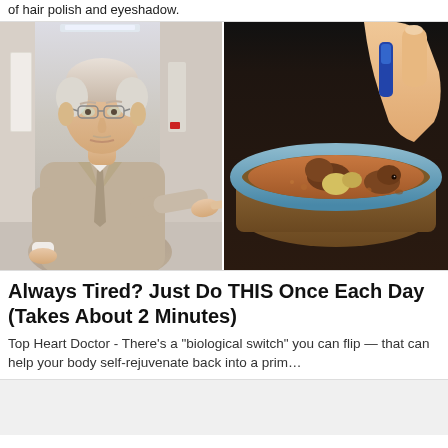of hair polish and eyeshadow.
[Figure (photo): Left half: older white-haired man in a beige/tan suit pointing toward the right at something off-screen, standing in a hospital corridor background. Right half: close-up of a hand holding a blue tool over a small sandy terrarium or bowl containing what appear to be small animals and rocks.]
Always Tired? Just Do THIS Once Each Day (Takes About 2 Minutes)
Top Heart Doctor - There’s a “biological switch” you can flip — that can help your body self-rejuvenate back into a prim…